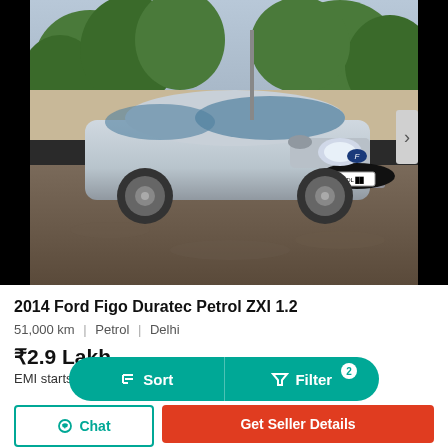[Figure (photo): Silver Ford Figo hatchback parked on a road, front three-quarter view, with trees in background. Black bars on left and right of image.]
2014 Ford Figo Duratec Petrol ZXI 1.2
51,000 km  |  Petrol  |  Delhi
₹2.9 Lakh
EMI starts at ₹4,…
Sort  Filter 2
Chat  Get Seller Details